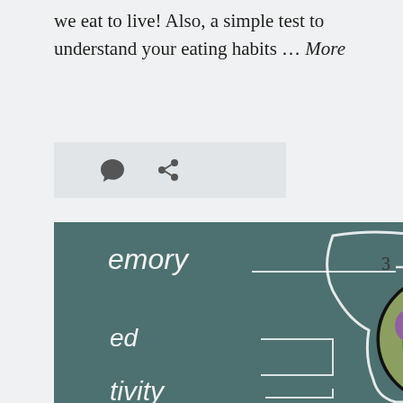we eat to live! Also, a simple test to understand your eating habits ... More
[Figure (other): Icon bar with speech bubble and share/link icons on a light grey background]
[Figure (illustration): Chalkboard style illustration of a human head profile (side view) with white chalk lines and labels: 'emory' (Memory), 'Attent' (Attention), 'ed' (Speed), 'Foo' (Food), 'tivity' (Activity/Creativity), 'Flexi' (Flexibility). A circular inset photo shows healthy foods including avocado, greens, nuts, and vegetables.]
3